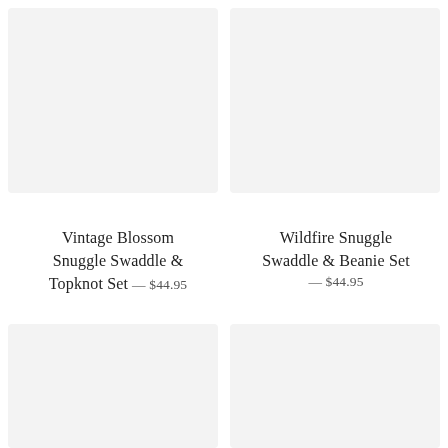[Figure (photo): Product image placeholder top left – Vintage Blossom Snuggle Swaddle & Topknot Set]
[Figure (photo): Product image placeholder top right – Wildfire Snuggle Swaddle & Beanie Set]
Vintage Blossom Snuggle Swaddle & Topknot Set — $44.95
Wildfire Snuggle Swaddle & Beanie Set — $44.95
[Figure (photo): Product image placeholder bottom left]
[Figure (photo): Product image placeholder bottom right]